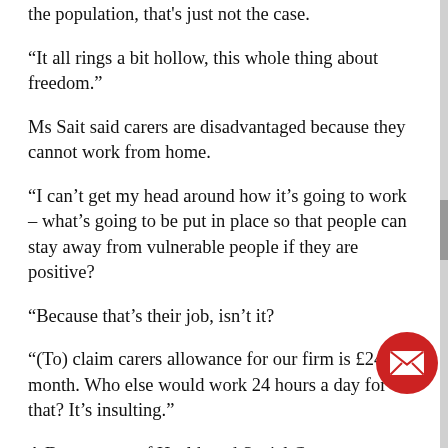the population, that's just not the case.
“It all rings a bit hollow, this whole thing about freedom.”
Ms Sait said carers are disadvantaged because they cannot work from home.
“I can’t get my head around how it’s going to work – what’s going to be put in place so that people can stay away from vulnerable people if they are positive?
“Because that’s their job, isn’t it?
“(To) claim carers allowance for our firm is £240 a month. Who else would work 24 hours a day for that? It’s insulting.”
A Department of Health and Social Care spokesperson said: “We have issued public health advice for people